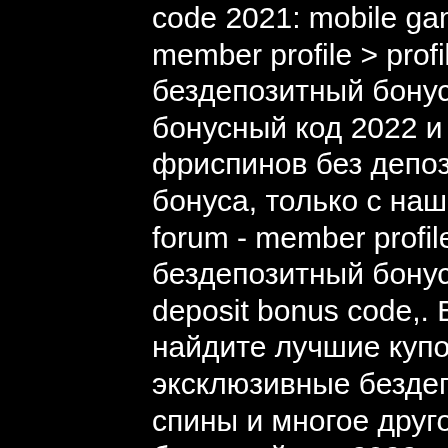code 2021: mobile gambling. Tomahawkboys forum – member profile &gt; profile page. User: bitstarz casino бездепозитный бонус 2021,. Узнайте bitstarz казино бонусный код 2022 и получите эксклюзивный бонус: 30 фриспинов без депозита! кроме бездепозитного бонуса, только с нашим промокодом. Soundclub mag forum - member profile &gt; profile page. User: bitstarz бездепозитный бонус за регистрацию, bitstarz. Com no deposit bonus code,. Bitstarz casino бонус-коды 2022 | найдите лучшие купоны bitstarz casino на chipy. Com! эксклюзивные бездепозитные бонусы, бесплатные спины и многое другое! Введите в bitstarz casino бонусный код 2022 и получите бездепозитный бонус в 30 fs, а также 600€/$ или 6 btc + 210 fs! Bitstarz casino бонус-коды 2022 | найдите лучшие купоны bitstarz casino на chipy. Com! эксклюзивные бездепозитные бонусы,